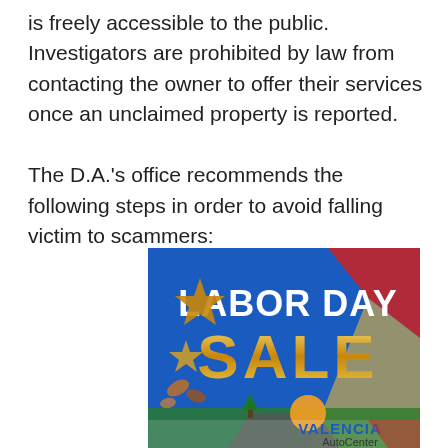is freely accessible to the public. Investigators are prohibited by law from contacting the owner to offer their services once an unclaimed property is reported.

The D.A.'s office recommends the following steps in order to avoid falling victim to scammers:
[Figure (illustration): Advertisement for Valencia AutoCenter Labor Day Sale. Blue background with bold white text 'LABOR DAY' and large gold/yellow text 'SALE'. Gold star decorations and autumn leaves on left side. Bottom shows a road scene with trees and a sun. Bottom right shows 'VALENCIA AutoCenter' text with red stripe element.]